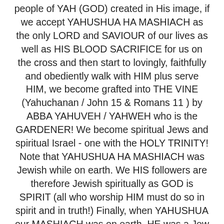people of YAH (GOD) created in His image, if we accept YAHUSHUA HA MASHIACH as the only LORD and SAVIOUR of our lives as well as HIS BLOOD SACRIFICE for us on the cross and then start to lovingly, faithfully and obediently walk with HIM plus serve HIM, we become grafted into THE VINE (Yahuchanan / John 15 & Romans 11 ) by ABBA YAHUVEH / YAHWEH who is the GARDENER! We become spiritual Jews and spiritual Israel - one with the HOLY TRINITY! Note that YAHUSHUA HA MASHIACH was Jewish while on earth. We HIS followers are therefore Jewish spiritually as GOD is SPIRIT (all who worship HIM must do so in spirit and in truth!) Finally, when YAHUSHUA our MASHIACH was on earth, HE was a Jew who wore TZITZIT, ate KOSHER, celebrated PASSOVER, kept